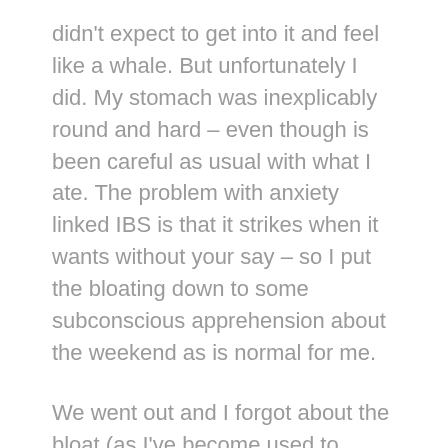didn't expect to get into it and feel like a whale. But unfortunately I did. My stomach was inexplicably round and hard – even though is been careful as usual with what I ate. The problem with anxiety linked IBS is that it strikes when it wants without your say – so I put the bloating down to some subconscious apprehension about the weekend as is normal for me.
We went out and I forgot about the bloat (as I've become used to dealing very well with my insecurities and no longer let them bother me too much). I put it to the back of my mind and we set off to the club.
Yet halfway through the night I was paid the ultimate backhanded compliment. As I stood